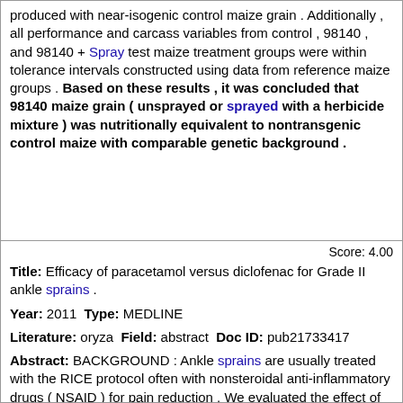produced with near-isogenic control maize grain . Additionally , all performance and carcass variables from control , 98140 , and 98140 + Spray test maize treatment groups were within tolerance intervals constructed using data from reference maize groups . Based on these results , it was concluded that 98140 maize grain ( unsprayed or sprayed with a herbicide mixture ) was nutritionally equivalent to nontransgenic control maize with comparable genetic background .
Score: 4.00
Title: Efficacy of paracetamol versus diclofenac for Grade II ankle sprains .
Year: 2011 Type: MEDLINE
Literature: oryza Field: abstract Doc ID: pub21733417
Abstract: BACKGROUND : Ankle sprains are usually treated with the RICE protocol often with nonsteroidal anti-inflammatory drugs ( NSAID ) for pain reduction . We evaluated the effect of diclofenac , an NSAID , versus paracematol in the reduction of pain and acute edema of severe ankle sprains . MATERIALS AND METHODS : Ninety patients , 18 to 60 years old , with Grade II acute ankle sprains were randomized into two groups . Group A ( 45 patients ) received for the first 10 days diclofenac 75 mg orally twice per day . Group B ( 45 patients ) received paracetamol 500 mg orally three times per day for the same period . We evaluated ankle joint edema with the Figure-of-Eight method and with the volumetric method , as well as pain with the Visual Analogue Scale ( VAS ) in both groups . RESULTS : The patients had no significant differences concerning their baseline values ( p > 0 . 05 ) . The ankle joint edema was decreased in both groups ( p < 0 . 001 ) but there was more edema in group A than in group B at the third post-traumatic day with both measurement methods ( p = 0 . 028/0 . 025 ) . By the tenth